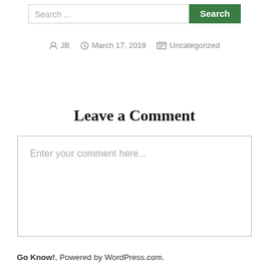Search ...
JB  March 17, 2019  Uncategorized
Leave a Comment
Enter your comment here...
Go Know!, Powered by WordPress.com.